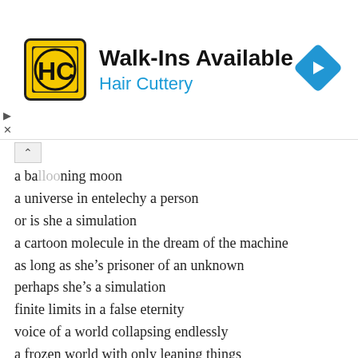[Figure (other): Hair Cuttery advertisement banner with yellow HC logo, 'Walk-Ins Available' headline, 'Hair Cuttery' subtitle in blue, and a blue diamond-shaped navigation arrow icon on the right]
a ballooning moon
a universe in entelechy a person
or is she a simulation
a cartoon molecule in the dream of the machine
as long as she's prisoner of an unknown
perhaps she's a simulation
finite limits in a false eternity
voice of a world collapsing endlessly
a frozen world with only leaning things
lapsing crumbling without memory
a world at an end in frosted shadows that ride
in their depths a wilderness
could a machine swallow a universe
or a universe swallow a machine